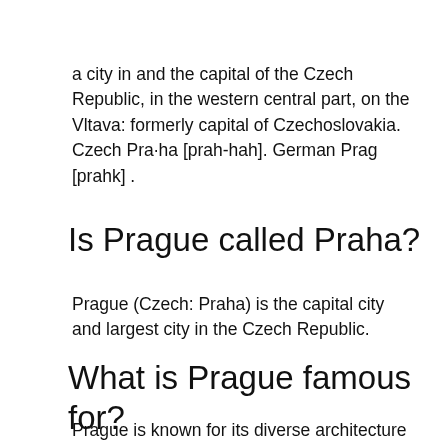a city in and the capital of the Czech Republic, in the western central part, on the Vltava: formerly capital of Czechoslovakia. Czech Pra·ha [prah-hah]. German Prag [prahk] .
Is Prague called Praha?
Prague (Czech: Praha) is the capital city and largest city in the Czech Republic.
What is Prague famous for?
Prague is known for its diverse architecture and museums, along with its abundant and cheap nightlife, and extensive shopping